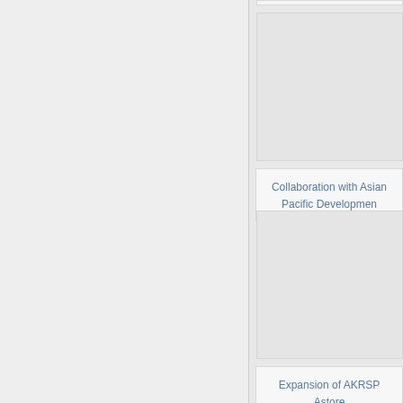Collaboration with Asian Pacific Development
Expansion of AKRSP Astore